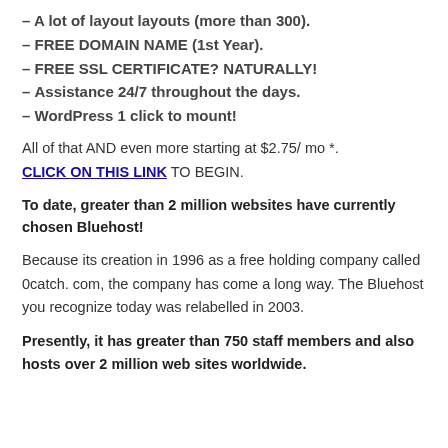– A lot of layout layouts (more than 300).
– FREE DOMAIN NAME (1st Year).
– FREE SSL CERTIFICATE? NATURALLY!
– Assistance 24/7 throughout the days.
– WordPress 1 click to mount!
All of that AND even more starting at $2.75/ mo *.
CLICK ON THIS LINK TO BEGIN.
To date, greater than 2 million websites have currently chosen Bluehost!
Because its creation in 1996 as a free holding company called 0catch. com, the company has come a long way. The Bluehost you recognize today was relabelled in 2003.
Presently, it has greater than 750 staff members and also hosts over 2 million web sites worldwide.